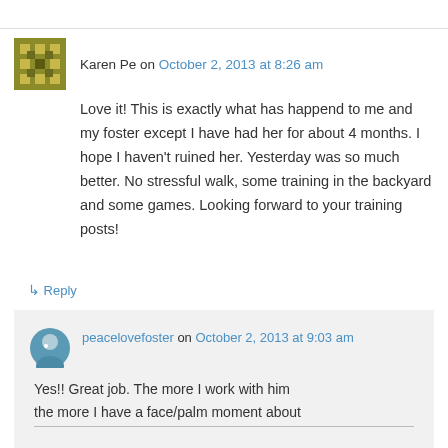Karen Pe on October 2, 2013 at 8:26 am
Love it! This is exactly what has happend to me and my foster except I have had her for about 4 months. I hope I haven't ruined her. Yesterday was so much better. No stressful walk, some training in the backyard and some games. Looking forward to your training posts!
↳ Reply
peacelovefoster on October 2, 2013 at 9:03 am
Yes!! Great job. The more I work with him the more I have a face/palm moment about